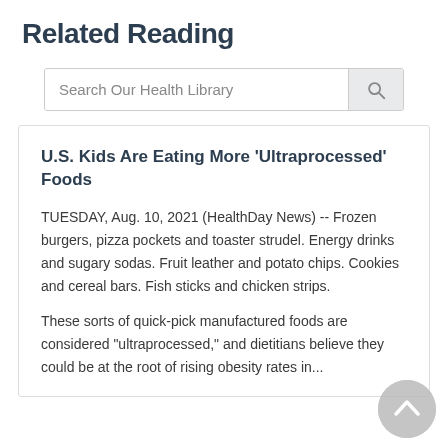Related Reading
[Figure (other): Search bar with placeholder text 'Search Our Health Library' and a search button with magnifying glass icon]
U.S. Kids Are Eating More 'Ultraprocessed' Foods
TUESDAY, Aug. 10, 2021 (HealthDay News) -- Frozen burgers, pizza pockets and toaster strudel. Energy drinks and sugary sodas. Fruit leather and potato chips. Cookies and cereal bars. Fish sticks and chicken strips.
These sorts of quick-pick manufactured foods are considered "ultraprocessed," and dietitians believe they could be at the root of rising obesity rates in...